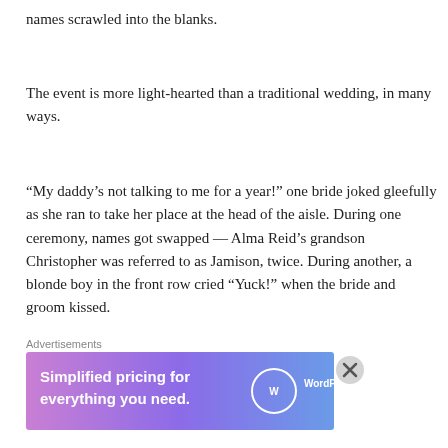names scrawled into the blanks.
The event is more light-hearted than a traditional wedding, in many ways.
“My daddy’s not talking to me for a year!” one bride joked gleefully as she ran to take her place at the head of the aisle. During one ceremony, names got swapped — Alma Reid’s grandson Christopher was referred to as Jamison, twice. During another, a blonde boy in the front row cried “Yuck!” when the bride and groom kissed.
Advertisements
[Figure (other): WordPress.com advertisement banner: 'Simplified pricing for everything you need.' with WordPress.com logo]
Advertisements
[Figure (other): WooCommerce advertisement banner: 'How to start selling subscriptions online' with WooCommerce logo and colorful leaf shapes]